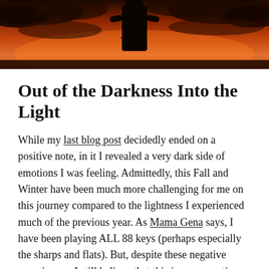[Figure (photo): A silhouette of a person standing against a dramatic orange and red sunset sky with dark clouds.]
Out of the Darkness Into the Light
While my last blog post decidedly ended on a positive note, in it I revealed a very dark side of emotions I was feeling. Admittedly, this Fall and Winter have been much more challenging for me on this journey compared to the lightness I experienced much of the previous year. As Mama Gena says, I have been playing ALL 88 keys (perhaps especially the sharps and flats). But, despite these negative experiences, I still believe that this journey continues to be a positive one for me and for us. Thus, I feel a renewed buoyancy as we slowly shift